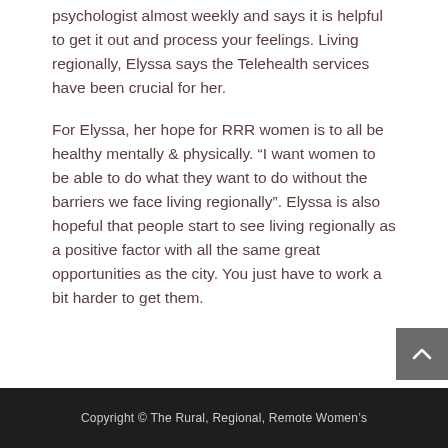psychologist almost weekly and says it is helpful to get it out and process your feelings. Living regionally, Elyssa says the Telehealth services have been crucial for her.
For Elyssa, her hope for RRR women is to all be healthy mentally & physically. “I want women to be able to do what they want to do without the barriers we face living regionally”. Elyssa is also hopeful that people start to see living regionally as a positive factor with all the same great opportunities as the city. You just have to work a bit harder to get them.
Copyright © The Rural, Regional, Remote Women’s